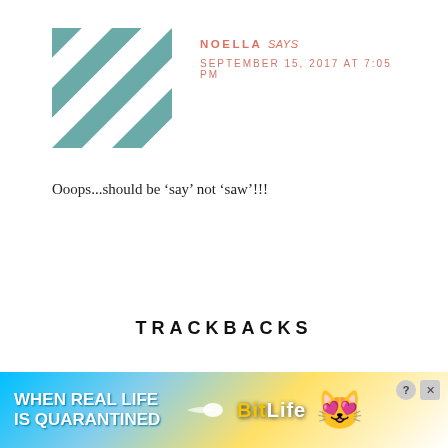[Figure (illustration): Geometric quilt-pattern avatar in teal/grey and white triangles arranged in a 4x4 grid pattern]
NOELLA says
SEPTEMBER 15, 2017 AT 7:05 PM
Ooops...should be ‘say’ not ‘saw’!!!
TRACKBACKS
TUTORIAL: PENCIL SKIRT SEW-ALONG | SEWING | CRAFTGOSSIP.COM says:
[Figure (illustration): Advertisement banner: colorful rainbow background with text WHEN REAL LIFE IS QUARANTINED, BitLife logo, and cartoon emoji character with star eyes]